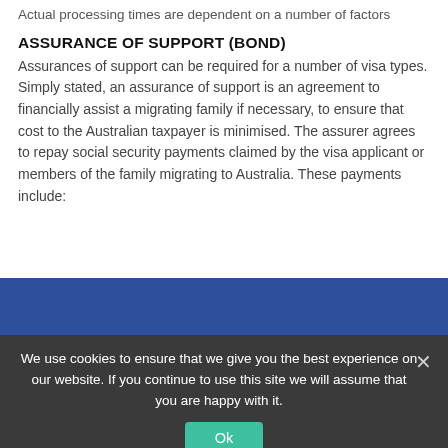Actual processing times are dependent on a number of factors
ASSURANCE OF SUPPORT (BOND)
Assurances of support can be required for a number of visa types. Simply stated, an assurance of support is an agreement to financially assist a migrating family if necessary, to ensure that cost to the Australian taxpayer is minimised. The assurer agrees to repay social security payments claimed by the visa applicant or members of the family migrating to Australia. These payments include:
[Figure (other): Blue banner/bar decorative element]
We use cookies to ensure that we give you the best experience on our website. If you continue to use this site we will assume that you are happy with it.